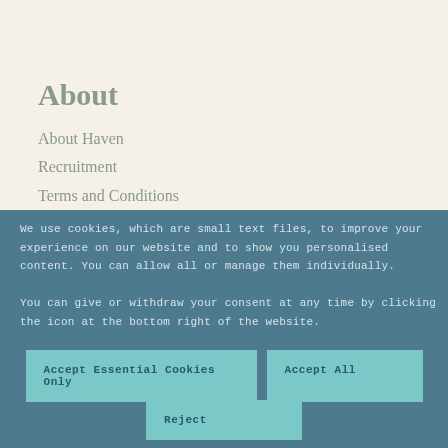About
About Haven
Recruitment
Terms and Conditions
We use cookies, which are small text files, to improve your experience on our website and to show you personalised content. You can allow all or manage them individually.
You can give or withdraw your consent at any time by clicking the icon at the bottom right of the website.
Accept Essential Cookies Only
Accept All
Reject